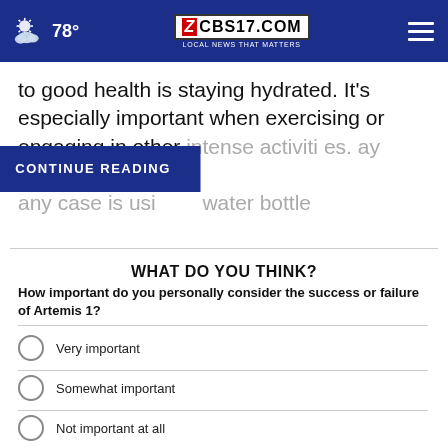78° CBS17.COM LOCAL NEWS THAT MATTERS
to good health is staying hydrated. It's especially important when exercising or engaging in other intense activiti... ay hydrated in any case is usi... water bottle
WHAT DO YOU THINK?
How important do you personally consider the success or failure of Artemis 1?
Very important
Somewhat important
Not important at all
Other / No opinion